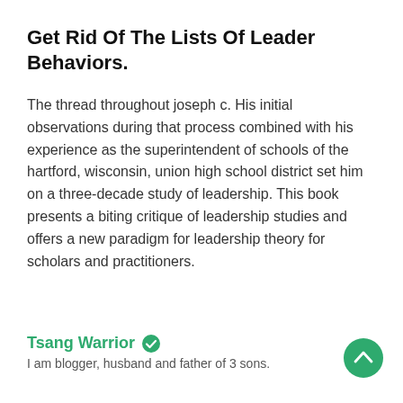Get Rid Of The Lists Of Leader Behaviors.
The thread throughout joseph c. His initial observations during that process combined with his experience as the superintendent of schools of the hartford, wisconsin, union high school district set him on a three-decade study of leadership. This book presents a biting critique of leadership studies and offers a new paradigm for leadership theory for scholars and practitioners.
Tsang Warrior
I am blogger, husband and father of 3 sons.